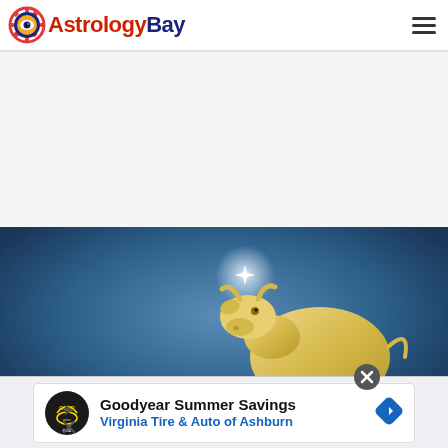[Figure (logo): AstrologyBay logo with sun/eye icon and text 'AstrologyBay' in red and dark blue]
[Figure (other): Hamburger menu icon (three horizontal lines) in top right corner]
[Figure (illustration): Illustration of a golden bull/taurus looking up at a bright star, against a dark blue to lighter blue gradient background with sparkles]
[Figure (screenshot): Advertisement banner: Goodyear Summer Savings - Virginia Tire & Auto of Ashburn, with Goodyear logo, play/close buttons, and blue diamond arrow icon]